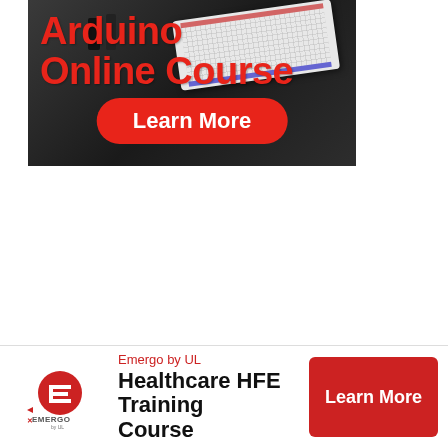[Figure (illustration): Arduino Online Course advertisement banner showing a breadboard with components and bold red text 'Arduino Online Course' with a red 'Learn More' button]
[Figure (infographic): Emergo by UL sticky banner ad at bottom of page with Emergo logo, text 'Emergo by UL / Healthcare HFE Training Course' and a red 'Learn More' button, plus a close (X) circle button]